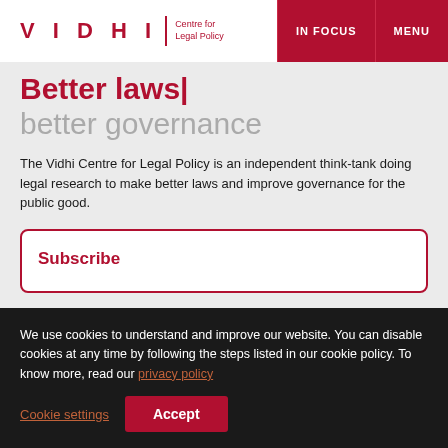VIDHI | Centre for Legal Policy   IN FOCUS   MENU
Better laws
better governance
The Vidhi Centre for Legal Policy is an independent think-tank doing legal research to make better laws and improve governance for the public good.
Subscribe
We use cookies to understand and improve our website. You can disable cookies at any time by following the steps listed in our cookie policy. To know more, read our privacy policy
Cookie settings   Accept